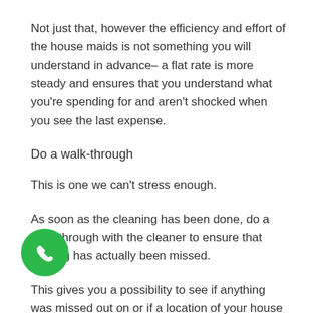Not just that, however the efficiency and effort of the house maids is not something you will understand in advance– a flat rate is more steady and ensures that you understand what you're spending for and aren't shocked when you see the last expense.
Do a walk-through
This is one we can't stress enough.
As soon as the cleaning has been done, do a walk-through with the cleaner to ensure that nothing has actually been missed.
This gives you a possibility to see if anything was missed out on or if a location of your house needs a bit more attention to be done a bit much better.
When the cleaners leave, it's virtually impossible to get them to come back the exact same day, so make certain whatever looks excellent before they leave.
[Figure (other): Green circular phone call button icon in bottom left corner]